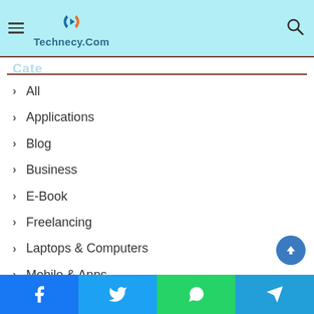Technecy.Com
All
Applications
Blog
Business
E-Book
Freelancing
Laptops & Computers
Mobile & Apps
Networking
News
Facebook | Twitter | WhatsApp | Telegram